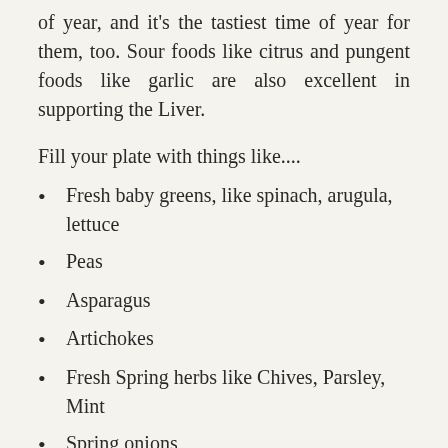of year, and it's the tastiest time of year for them, too. Sour foods like citrus and pungent foods like garlic are also excellent in supporting the Liver.
Fill your plate with things like....
Fresh baby greens, like spinach, arugula, lettuce
Peas
Asparagus
Artichokes
Fresh Spring herbs like Chives, Parsley, Mint
Spring onions